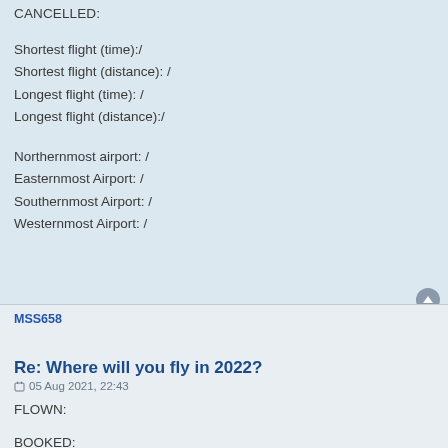CANCELLED:
Shortest flight (time):/
Shortest flight (distance): /
Longest flight (time): /
Longest flight (distance):/
Northernmost airport: /
Easternmost Airport: /
Southernmost Airport: /
Westernmost Airport: /
MSS658
Re: Where will you fly in 2022?
05 Aug 2021, 22:43
FLOWN:
BOOKED:
AMS-PRG KL/73G